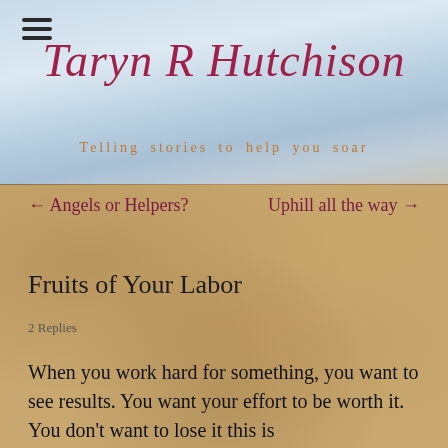[Figure (screenshot): Website header with sky background showing blog name and tagline]
Taryn R Hutchison
Telling stories to help you soar
← Angels or Helpers?    Uphill all the way →
Fruits of Your Labor
2 Replies
When you work hard for something, you want to see results. You want your effort to be worth it. You don't want to lose it this is...